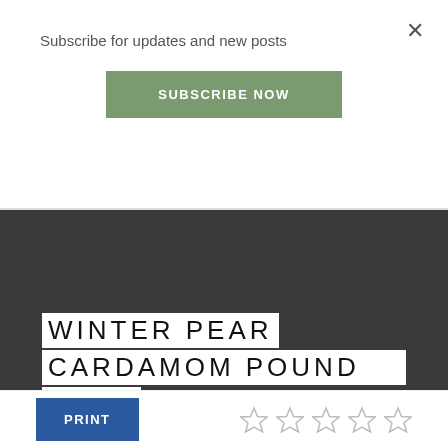Subscribe for updates and new posts
SUBSCRIBE NOW
[Figure (photo): Dark background hero image with white text overlay reading WINTER PEAR CARDAMOM POUND CAKE]
WINTER PEAR CARDAMOM POUND CAKE
Magical and delicious winter pear cardamom pound cake recipe that is perfect for snowy and moody days under a blanket with a cup of tea.
PRINT
[Figure (other): Five empty/outline star rating icons]